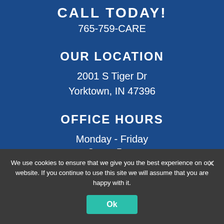CALL TODAY!
765-759-CARE
OUR LOCATION
2001 S Tiger Dr
Yorktown, IN 47396
OFFICE HOURS
Monday - Friday
8am - 5pm
We use cookies to ensure that we give you the best experience on our website. If you continue to use this site we will assume that you are happy with it.